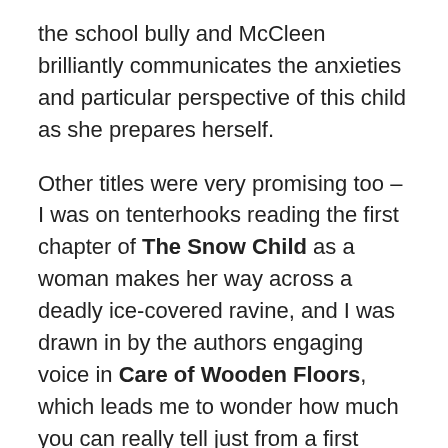the school bully and McCleen brilliantly communicates the anxieties and particular perspective of this child as she prepares herself.
Other titles were very promising too – I was on tenterhooks reading the first chapter of The Snow Child as a woman makes her way across a deadly ice-covered ravine, and I was drawn in by the authors engaging voice in Care of Wooden Floors, which leads me to wonder how much you can really tell just from a first chapter of a book. I expect to see some of these titles popping up in blogs and reviews so I'll be looking forward to seeing what people make of the full novels.
Do any of the above books appeal to you? Do you find that you read many debut authors?